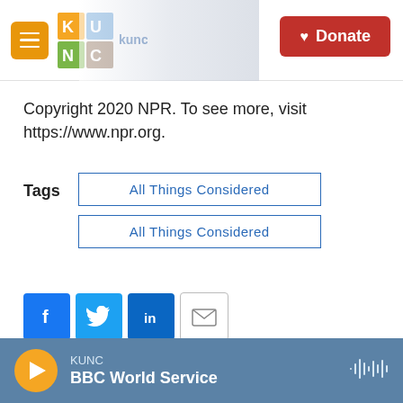KUNC | Donate
Copyright 2020 NPR. To see more, visit https://www.npr.org.
Tags   All Things Considered   All Things Considered
[Figure (infographic): Social share icons: Facebook, Twitter, LinkedIn, Email]
Christianna Silva
KUNC | BBC World Service